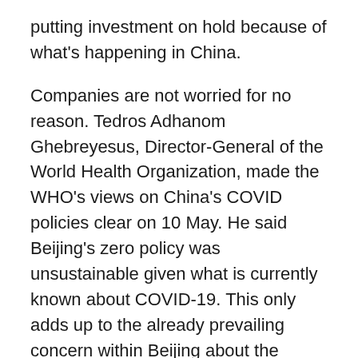putting investment on hold because of what's happening in China.
Companies are not worried for no reason. Tedros Adhanom Ghebreyesus, Director-General of the World Health Organization, made the WHO's views on China's COVID policies clear on 10 May. He said Beijing's zero policy was unsustainable given what is currently known about COVID-19. This only adds up to the already prevailing concern within Beijing about the outlook for its economic growth amid these stern COVID rules. (ANI)